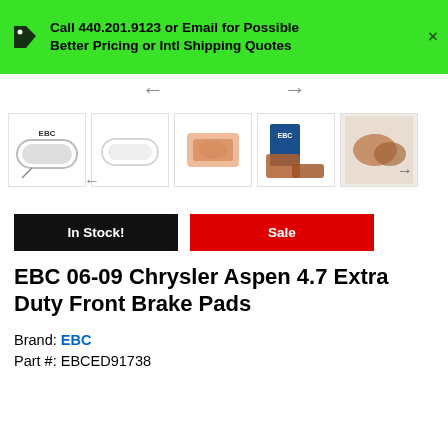Call 440.201.9123 or Email for Possible Better Pricing or Intl Shipping Quotes
[Figure (photo): Five product thumbnail images of EBC brake pads showing different views: brake pad diagram, brake pad outline, brake components, product box, and brake pad photos. Navigation arrows on left and right.]
In Stock!
Sale
EBC 06-09 Chrysler Aspen 4.7 Extra Duty Front Brake Pads
Brand: EBC
Part #: EBCED91738